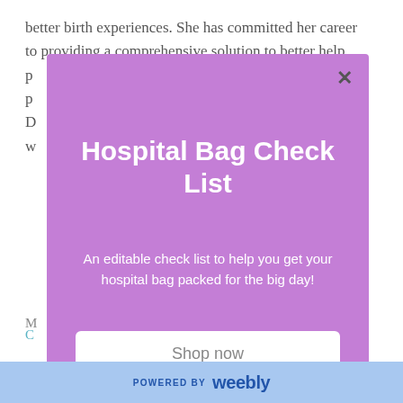better birth experiences. She has committed her career to providing a comprehensive solution to better help parents prepare for childbirth.
[Figure (screenshot): A modal popup overlay with purple/violet background showing a Hospital Bag Check List advertisement with a 'Shop now' button and a close (X) button in the top right corner.]
Hospital Bag Check List
An editable check list to help you get your hospital bag packed for the big day!
Shop now
POWERED BY weebly